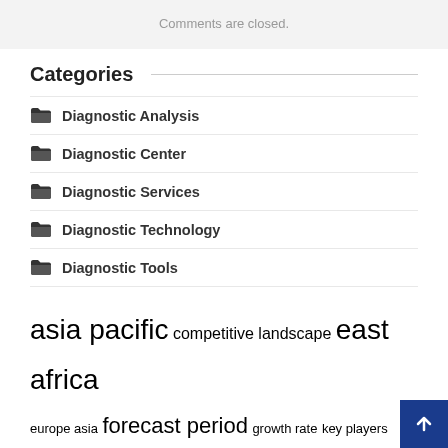Comments are closed.
Categories
Diagnostic Analysis
Diagnostic Center
Diagnostic Services
Diagnostic Technology
Diagnostic Tools
asia pacific  competitive landscape  east africa  europe asia  forecast period  growth rate  key players  market players  market report  market research